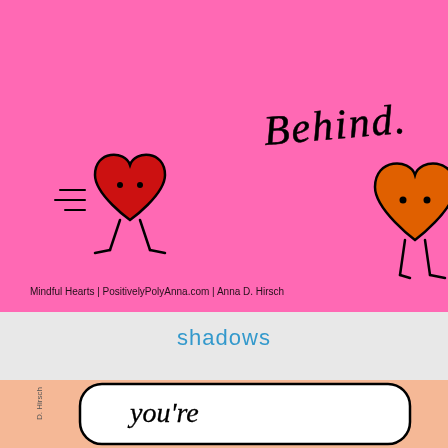[Figure (illustration): Pink background illustration with handwritten text 'Behind.' and two cartoon heart characters with legs running. A red heart on the left appears to be chasing an orange heart on the right. Watermark text reads: Mindful Hearts | PositivelyPolyAnna.com | Anna D. Hirsch]
shadows
[Figure (illustration): Peach/salmon background illustration with a rounded rectangle speech bubble containing handwritten text starting with 'You're' and more text below, with a vertical text watermark 'D. Hirsch' on the left side.]